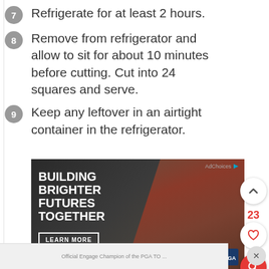7. Refrigerate for at least 2 hours.
8. Remove from refrigerator and allow to sit for about 10 minutes before cutting. Cut into 24 squares and serve.
9. Keep any leftover in an airtight container in the refrigerator.
[Figure (photo): Advertisement banner: 'Building Brighter Futures Together' with a photo of a young person playing saxophone, Southern Company branding and PGA Tour logo.]